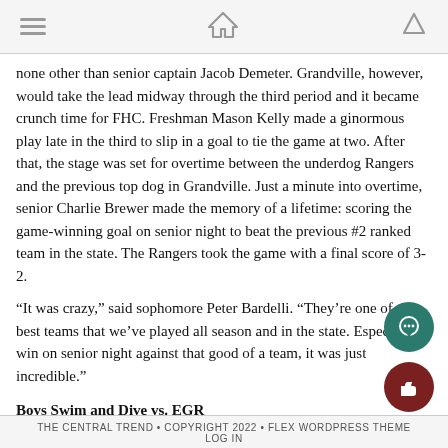[navigation bar with menu, home, and up icons]
none other than senior captain Jacob Demeter. Grandville, however, would take the lead midway through the third period and it became crunch time for FHC. Freshman Mason Kelly made a ginormous play late in the third to slip in a goal to tie the game at two. After that, the stage was set for overtime between the underdog Rangers and the previous top dog in Grandville. Just a minute into overtime, senior Charlie Brewer made the memory of a lifetime: scoring the game-winning goal on senior night to beat the previous #2 ranked team in the state. The Rangers took the game with a final score of 3-2.
“It was crazy,” said sophomore Peter Bardelli. “They’re one of the best teams that we’ve played all season and in the state. Especially to win on senior night against that good of a team, it was just incredible.”
Boys Swim and Dive vs. EGR
The Central Trend • Copyright 2022 • Flex WordPress Theme
Log In